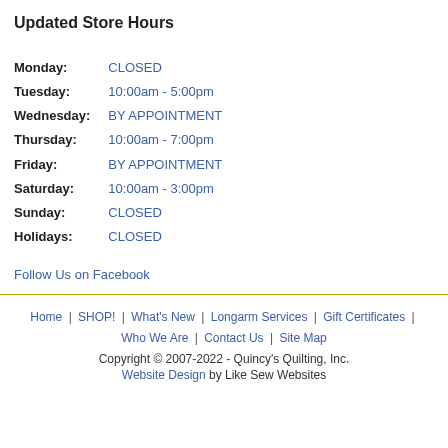Updated Store Hours
| Day | Hours |
| --- | --- |
| Monday: | CLOSED |
| Tuesday: | 10:00am - 5:00pm |
| Wednesday: | BY APPOINTMENT |
| Thursday: | 10:00am - 7:00pm |
| Friday: | BY APPOINTMENT |
| Saturday: | 10:00am - 3:00pm |
| Sunday: | CLOSED |
| Holidays: | CLOSED |
Follow Us on Facebook
Home | SHOP! | What's New | Longarm Services | Gift Certificates | Who We Are | Contact Us | Site Map
Copyright © 2007-2022 - Quincy's Quilting, Inc.
Website Design by Like Sew Websites